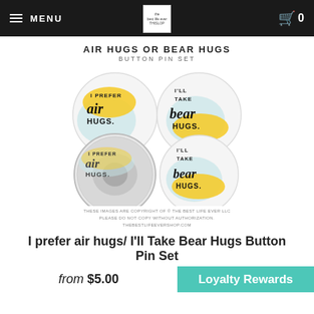MENU  [logo]  0
AIR HUGS OR BEAR HUGS
BUTTON PIN SET
[Figure (photo): Four circular button pins showing 'I prefer air hugs.' and 'I'll Take Bear Hugs.' text with yellow and light blue background splashes. Bottom left pin shown from the back.]
THESE IMAGES ARE COPYRIGHT OF © THE BEST LIFE EVER LLC PLEASE DO NOT COPY WITHOUT AUTHORIZATION. THEBESTLIFEEVERSHOP.COM
I prefer air hugs/ I'll Take Bear Hugs Button Pin Set
from $5.00
Loyalty Rewards